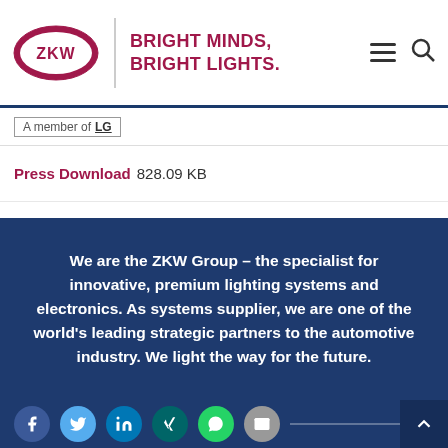[Figure (logo): ZKW logo — red oval with ZKW text, tagline BRIGHT MINDS, BRIGHT LIGHTS. in dark red, hamburger menu and search icons]
A member of LG
Press Download 828.09 KB
We are the ZKW Group – the specialist for innovative, premium lighting systems and electronics. As systems supplier, we are one of the world's leading strategic partners to the automotive industry. We light the way for the future.
[Figure (infographic): Social media icons: Facebook, Twitter, LinkedIn, Xing, WhatsApp, Email — circular colored icons with a horizontal line connector, and a back-to-top arrow button]